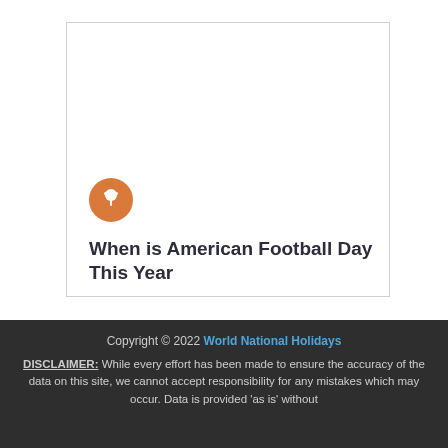[Figure (illustration): Card with orange pin icon and title text 'When is American Football Day This Year']
When is American Football Day This Year
Copyright © 2022 World National Holidays DISCLAIMER: While every effort has been made to ensure the accuracy of the data on this site, we cannot accept responsibility for any mistakes which may occur. Data is provided 'as is' without